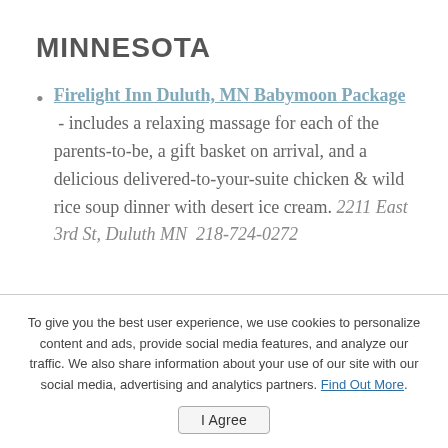MINNESOTA
Firelight Inn Duluth, MN Babymoon Package - includes a relaxing massage for each of the parents-to-be, a gift basket on arrival, and a delicious delivered-to-your-suite chicken & wild rice soup dinner with desert ice cream. 2211 East 3rd St, Duluth MN  218-724-0272
To give you the best user experience, we use cookies to personalize content and ads, provide social media features, and analyze our traffic. We also share information about your use of our site with our social media, advertising and analytics partners. Find Out More.
I Agree